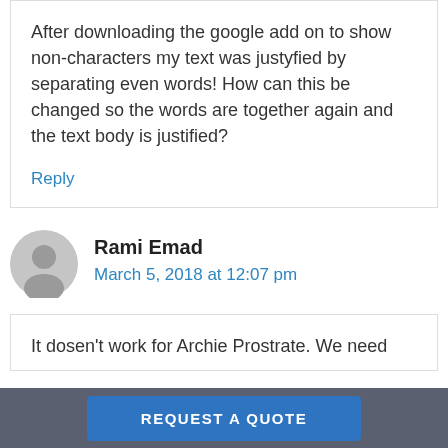After downloading the google add on to show non-characters my text was justyfied by separating even words! How can this be changed so the words are together again and the text body is justified?
Reply
Rami Emad
March 5, 2018 at 12:07 pm
It dosen't work for Archie Prostrate. We need...
REQUEST A QUOTE